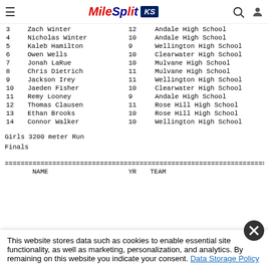MileSplit KS
| # | NAME | YR | TEAM |
| --- | --- | --- | --- |
| 3 | Zach Winter | 12 | Andale High School |
| 4 | Nicholas Winter | 10 | Andale High School |
| 5 | Kaleb Hamilton | 9 | Wellington High School |
| 6 | Owen Wells | 10 | Clearwater High School |
| 7 | Jonah LaRue | 10 | Mulvane High School |
| 8 | Chris Dietrich | 11 | Mulvane High School |
| 9 | Jackson Irey | 11 | Wellington High School |
| 10 | Jaeden Fisher | 10 | Clearwater High School |
| 11 | Remy Looney | 9 | Andale High School |
| 12 | Thomas Clausen | 11 | Rose Hill High School |
| 13 | Ethan Brooks | 10 | Rose Hill High School |
| 14 | Connor Walker | 10 | Wellington High School |
Girls 3200 meter Run
Finals
NAME    YR    TEAM
This website stores data such as cookies to enable essential site functionality, as well as marketing, personalization, and analytics. By remaining on this website you indicate your consent. Data Storage Policy